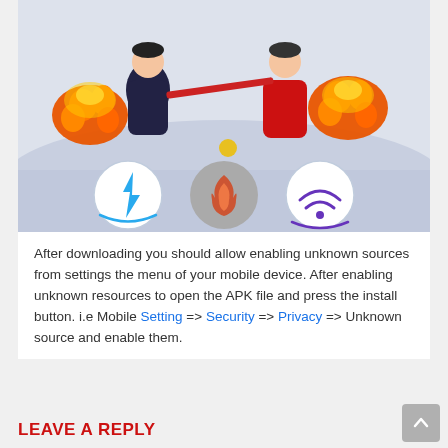[Figure (screenshot): Mobile game screenshot showing cartoon characters with orange fire gloves fighting, set on a snowy/white background. Below the screenshot are three circular icon buttons: a blue lightning bolt icon, a gray flame icon, and a purple wifi-signal icon.]
After downloading you should allow enabling unknown sources from settings the menu of your mobile device. After enabling unknown resources to open the APK file and press the install button. i.e Mobile Setting => Security => Privacy => Unknown source and enable them.
LEAVE A REPLY